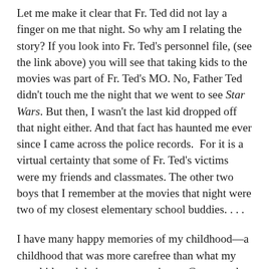Let me make it clear that Fr. Ted did not lay a finger on me that night. So why am I relating the story? If you look into Fr. Ted's personnel file, (see the link above) you will see that taking kids to the movies was part of Fr. Ted's MO. No, Father Ted didn't touch me the night that we went to see Star Wars. But then, I wasn't the last kid dropped off that night either. And that fact has haunted me ever since I came across the police records.  For it is a virtual certainty that some of Fr. Ted's victims were my friends and classmates. The other two boys that I remember at the movies that night were two of my closest elementary school buddies. . . .
I have many happy memories of my childhood—a childhood that was more carefree than what my own kids and their peers experience. Gone are the days when kids delivered the evening paper on their bikes,